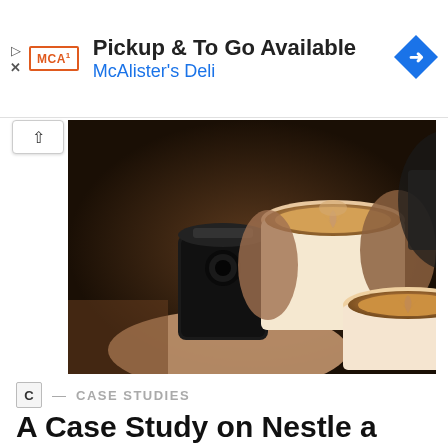[Figure (screenshot): Advertisement banner for McAlister's Deli showing 'Pickup & To Go Available' text with the McAlister's Deli logo and a blue navigation arrow icon]
[Figure (photo): Hands holding coffee drinks - two latte art cappuccinos in white paper cups and one black iced coffee drink, clinking together as a toast]
C — CASE STUDIES
A Case Study on Nestle a Multinational Brand